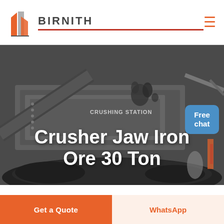[Figure (logo): Birnith company logo with orange building icon and bold text BIRNITH with red underline, plus hamburger menu icon]
[Figure (photo): Industrial jaw crusher / crushing station machine photographed at a job site with crushed ore/coal in foreground, dark moody lighting]
Crusher Jaw Iron Ore 30 Ton
Free chat
Get a Quote
WhatsApp